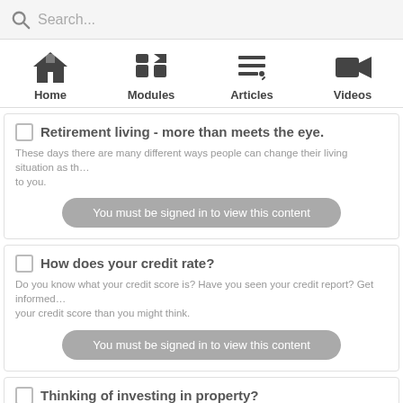Search...
[Figure (screenshot): Navigation bar with Home, Modules, Articles, Videos icons]
Retirement living - more than meets the eye.
These days there are many different ways people can change their living situation as th... to you.
You must be signed in to view this content
How does your credit rate?
Do you know what your credit score is? Have you seen your credit report? Get informed... your credit score than you might think.
You must be signed in to view this content
Thinking of investing in property?
Spring property season is here and many investors are on the hunt. Perhaps you...